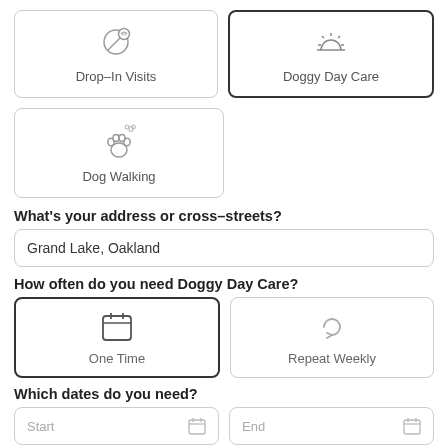[Figure (infographic): Service type selector cards: Drop-In Visits (with icon) and Doggy Day Care (selected, with sun icon)]
[Figure (infographic): Service type selector card: Dog Walking (with paw print icon)]
What's your address or cross-streets?
Grand Lake, Oakland
How often do you need Doggy Day Care?
[Figure (infographic): Frequency selector cards: One Time (selected, calendar icon) and Repeat Weekly (refresh icon)]
Which dates do you need?
[Figure (infographic): Date input row with Start and End fields, each with a calendar icon]